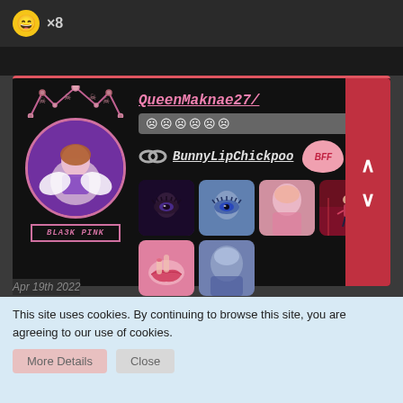[Figure (screenshot): Emoji reaction icon (grinning face) with ×8 count]
[Figure (screenshot): Social media profile card for QueenMaknae27 with BLACKPINK theme, avatar with crown, BFF link to BunnyLipChickpoo, and a grid of 6 K-pop photo thumbnails. Red scroll buttons on right side.]
Apr 18th 2022
This site uses cookies. By continuing to browse this site, you are agreeing to our use of cookies.
More Details   Close